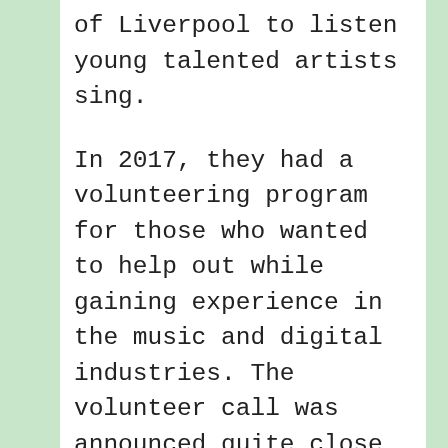of Liverpool to listen young talented artists sing.
In 2017, they had a volunteering program for those who wanted to help out while gaining experience in the music and digital industries. The volunteer call was announced quite close to the event, considering the deadline for applications was Friday May 12th. So, it's safe to assume you won't be hearing anything about volunteer applications until the summer.
A...